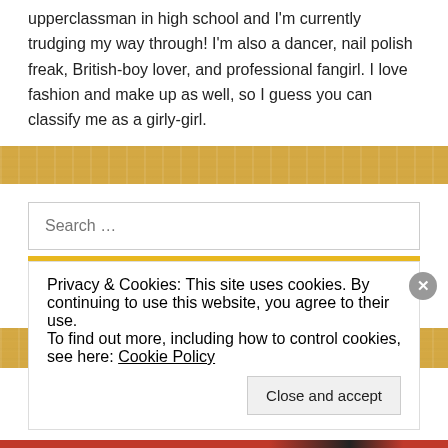upperclassman in high school and I'm currently trudging my way through! I'm also a dancer, nail polish freak, British-boy lover, and professional fangirl. I love fashion and make up as well, so I guess you can classify me as a girly-girl.
Search ...
Search
Privacy & Cookies: This site uses cookies. By continuing to use this website, you agree to their use.
To find out more, including how to control cookies, see here: Cookie Policy
Close and accept